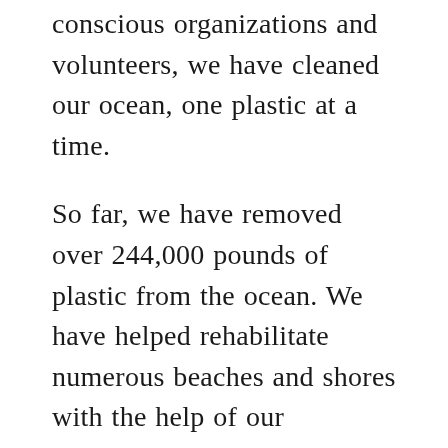conscious organizations and volunteers, we have cleaned our ocean, one plastic at a time.
So far, we have removed over 244,000 pounds of plastic from the ocean. We have helped rehabilitate numerous beaches and shores with the help of our volunteers.
We still have a long way to go, but we are already creating an impact.
People are starting to notice and take action. More people are rising